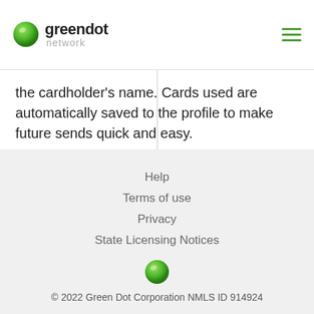greendot network
the cardholder's name. Cards used are automatically saved to the profile to make future sends quick and easy.
Personal information, internet access, working email address, and mobile phone are required to use MoneyPak.
Help
Terms of use
Privacy
State Licensing Notices
© 2022 Green Dot Corporation NMLS ID 914924